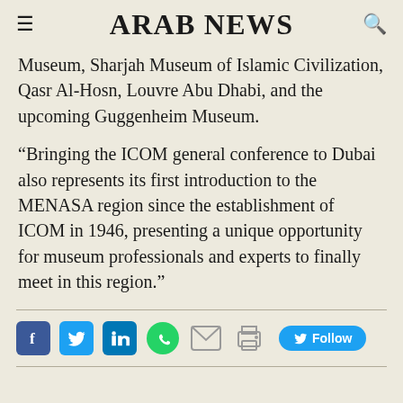ARAB NEWS
Museum, Sharjan Museum of Islamic Civilization, Qasr Al-Hosn, Louvre Abu Dhabi, and the upcoming Guggenheim Museum.
“Bringing the ICOM general conference to Dubai also represents its first introduction to the MENASA region since the establishment of ICOM in 1946, presenting a unique opportunity for museum professionals and experts to finally meet in this region.”